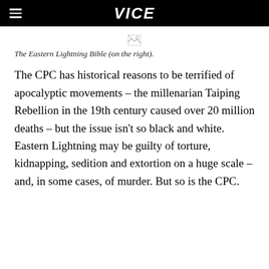VICE
[Figure (photo): Broken/missing image placeholder for the Eastern Lightning Bible photo]
The Eastern Lightning Bible (on the right).
The CPC has historical reasons to be terrified of apocalyptic movements – the millenarian Taiping Rebellion in the 19th century caused over 20 million deaths – but the issue isn't so black and white. Eastern Lightning may be guilty of torture, kidnapping, sedition and extortion on a huge scale – and, in some cases, of murder. But so is the CPC.